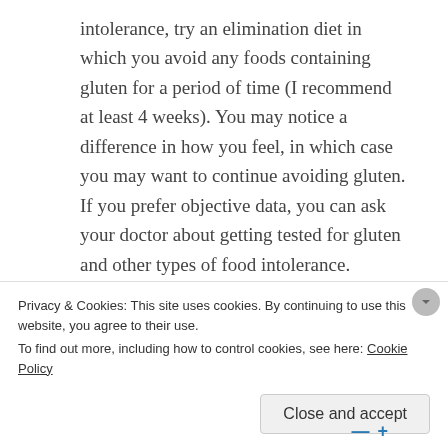intolerance, try an elimination diet in which you avoid any foods containing gluten for a period of time (I recommend at least 4 weeks). You may notice a difference in how you feel, in which case you may want to continue avoiding gluten. If you prefer objective data, you can ask your doctor about getting tested for gluten and other types of food intolerance.
Share this:
Twitter  Facebook
Privacy & Cookies: This site uses cookies. By continuing to use this website, you agree to their use.
To find out more, including how to control cookies, see here: Cookie Policy
Close and accept